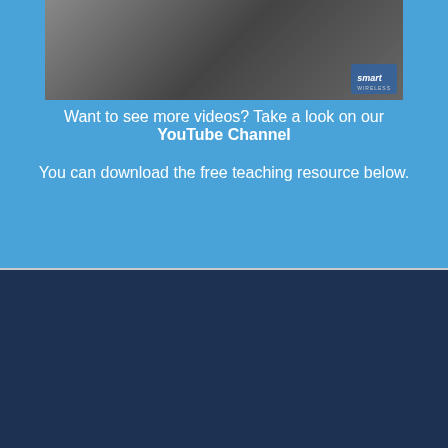[Figure (photo): Video thumbnail showing a person in a blue shirt at a desk with a laptop, demonstrating wireless medical devices. Smart Wireless logo visible in bottom right corner.]
Want to see more videos? Take a look on our YouTube Channel
You can download the free teaching resource below.
[Figure (photo): Product photo of a blood pressure monitoring device with a dark navy cuff, blue wireless transmitter unit with buttons, rubber bulb, and tubing, on a light grey background.]